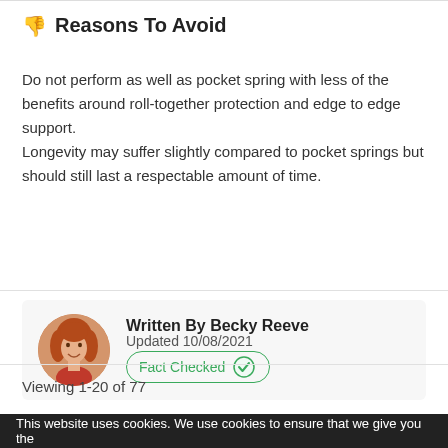Reasons To Avoid
Do not perform as well as pocket spring with less of the benefits around roll-together protection and edge to edge support.
Longevity may suffer slightly compared to pocket springs but should still last a respectable amount of time.
[Figure (photo): Author photo of Becky Reeve, a woman with red hair, circular crop]
Written By Becky Reeve
Updated 10/08/2021
Fact Checked
Viewing 1-20 of 77
This website uses cookies. We use cookies to ensure that we give you the